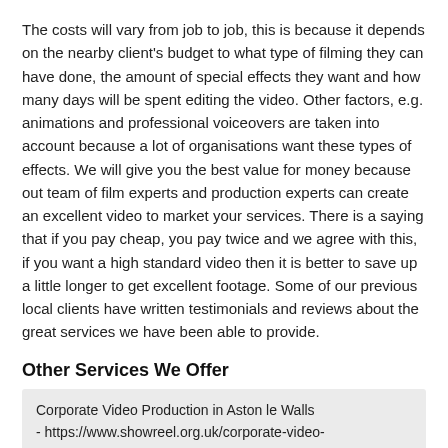The costs will vary from job to job, this is because it depends on the nearby client's budget to what type of filming they can have done, the amount of special effects they want and how many days will be spent editing the video. Other factors, e.g. animations and professional voiceovers are taken into account because a lot of organisations want these types of effects. We will give you the best value for money because out team of film experts and production experts can create an excellent video to market your services. There is a saying that if you pay cheap, you pay twice and we agree with this, if you want a high standard video then it is better to save up a little longer to get excellent footage. Some of our previous local clients have written testimonials and reviews about the great services we have been able to provide.
Other Services We Offer
Corporate Video Production in Aston le Walls - https://www.showreel.org.uk/corporate-video-production/[LINK]
Corporate Video Production Costs in Aston le Walls